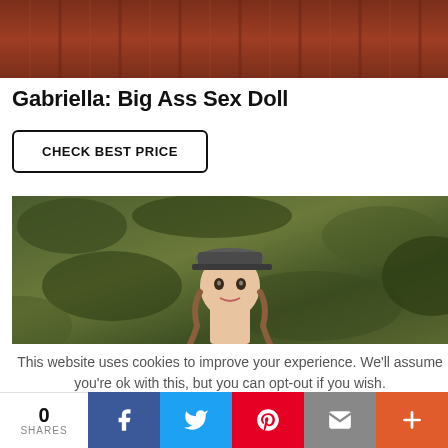[Figure (photo): Close-up cropped photo of ribbed fabric in dark brownish-red tones]
Gabriella: Big Ass Sex Doll
CHECK BEST PRICE
[Figure (photo): A realistic doll wearing a military cap with braided hair, photographed against a camouflage fabric background]
This website uses cookies to improve your experience. We'll assume you're ok with this, but you can opt-out if you wish.
0 SHARES | Facebook | Twitter | Pinterest | Email | More